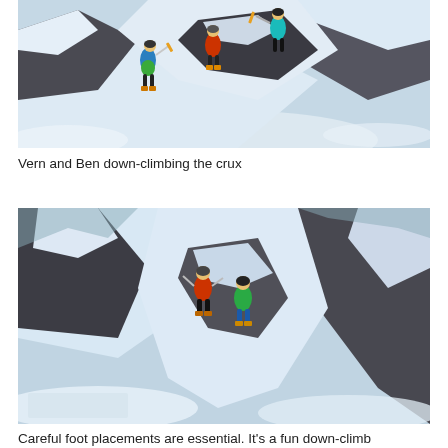[Figure (photo): Two mountaineers in bright colored jackets (blue/green and orange/red) down-climbing a steep rocky snowy ridge with ice axes, viewed from above. Rocky outcrops and snow visible.]
Vern and Ben down-climbing the crux
[Figure (photo): Two mountaineers (orange/red and green/blue jackets) navigating a steep rocky snow gully, negotiating between large rock walls with snow and ice. Aerial perspective looking down.]
Careful foot placements are essential. It's a fun down-climb